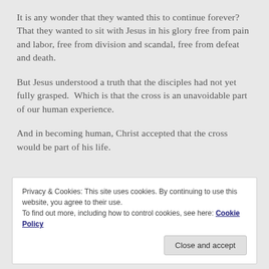It is any wonder that they wanted this to continue forever?  That they wanted to sit with Jesus in his glory free from pain and labor, free from division and scandal, free from defeat and death.
But Jesus understood a truth that the disciples had not yet fully grasped.  Which is that the cross is an unavoidable part of our human experience.
And in becoming human, Christ accepted that the cross would be part of his life.
Privacy & Cookies: This site uses cookies. By continuing to use this website, you agree to their use. To find out more, including how to control cookies, see here: Cookie Policy